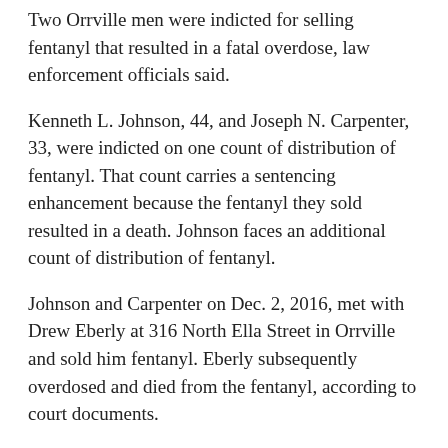Two Orrville men were indicted for selling fentanyl that resulted in a fatal overdose, law enforcement officials said.
Kenneth L. Johnson, 44, and Joseph N. Carpenter, 33, were indicted on one count of distribution of fentanyl. That count carries a sentencing enhancement because the fentanyl they sold resulted in a death. Johnson faces an additional count of distribution of fentanyl.
Johnson and Carpenter on Dec. 2, 2016, met with Drew Eberly at 316 North Ella Street in Orrville and sold him fentanyl. Eberly subsequently overdosed and died from the fentanyl, according to court documents.
Carpenter told investigators that he set up the sale in which Eberly purchased $20 worth of drugs from Johnson, according to court documents.